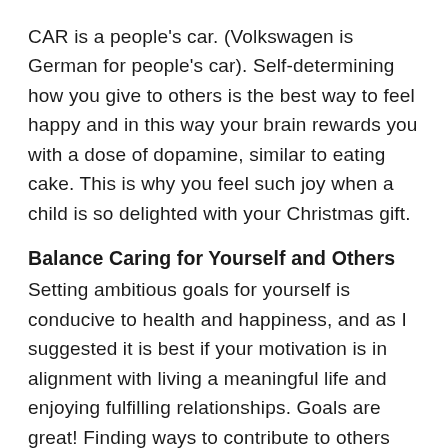CAR is a people's car. (Volkswagen is German for people's car). Self-determining how you give to others is the best way to feel happy and in this way your brain rewards you with a dose of dopamine, similar to eating cake. This is why you feel such joy when a child is so delighted with your Christmas gift.
Balance Caring for Yourself and Others
Setting ambitious goals for yourself is conducive to health and happiness, and as I suggested it is best if your motivation is in alignment with living a meaningful life and enjoying fulfilling relationships. Goals are great! Finding ways to contribute to others while improving your life will help you stay motivated and happy in the process. Beware, however, of maintaining a balance between prioritizing your